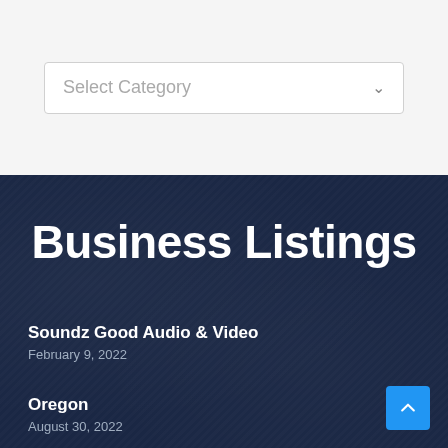[Figure (screenshot): A dropdown input labeled 'Select Category' with a chevron arrow on the right, on a light gray background]
Business Listings
Soundz Good Audio & Video
February 9, 2022
Oregon
August 30, 2022